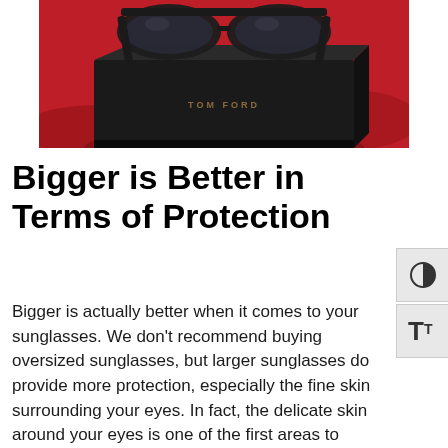[Figure (photo): Tom Ford sunglasses resting on a black Tom Ford box against a red background]
Bigger is Better in Terms of Protection
Bigger is actually better when it comes to your sunglasses. We don't recommend buying oversized sunglasses, but larger sunglasses do provide more protection, especially the fine skin surrounding your eyes. In fact, the delicate skin around your eyes is one of the first areas to show signs of aging and wrinkles.